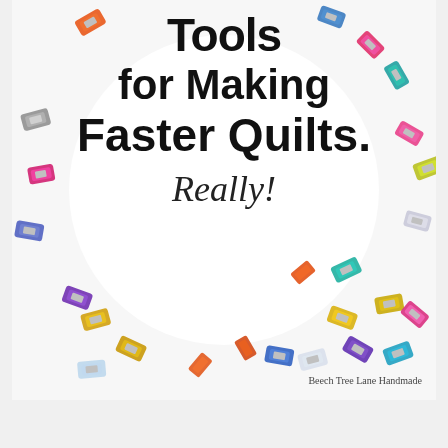[Figure (photo): Photo of colorful sewing/quilting binder clips (wonder clips) scattered in a circular arrangement on a white background, with overlaid text reading 'Tools for Making Faster Quilts. Really!' and attribution 'Beech Tree Lane Handmade']
Tools for Making Faster Quilts. Really!
Beech Tree Lane Handmade